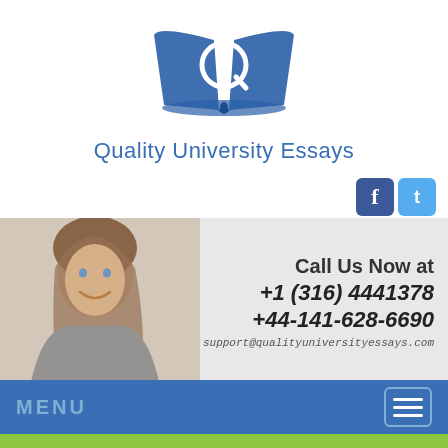[Figure (logo): Quality University Essays logo: open book with Q letter in blue, above text 'Quality University Essays']
[Figure (photo): Smiling young woman with brown hair, contact information banner showing phone numbers and email]
Call Us Now at +1 (316) 4441378 +44-141-628-6690 support@qualityuniversityessays.com
MENU
100% Original Content that Adheres to